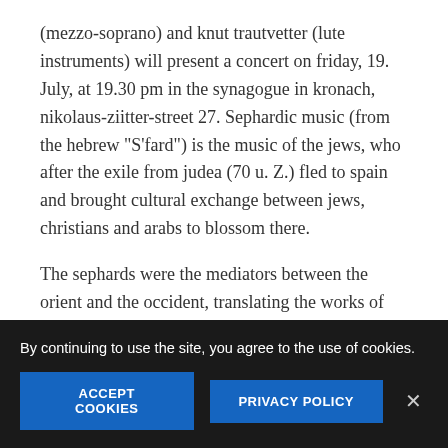(mezzo-soprano) and knut trautvetter (lute instruments) will present a concert on friday, 19. July, at 19.30 pm in the synagogue in kronach, nikolaus-ziitter-street 27. Sephardic music (from the hebrew "S'fard") is the music of the jews, who after the exile from judea (70 u. Z.) fled to spain and brought cultural exchange between jews, christians and arabs to blossom there.
The sephards were the mediators between the orient and the occident, translating the works of the great philosophers, fertilizing their religion and culture as well as that of the christians with the knowledge of the arabic world and the heritage of antiquity. The spanish
By continuing to use the site, you agree to the use of cookies.
ACCEPT COOKIES
PRIVACY POLICY